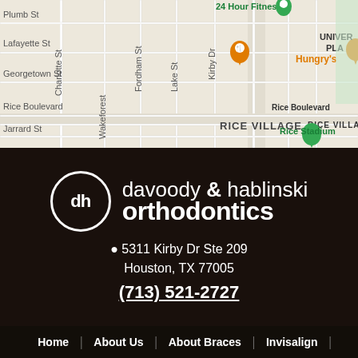[Figure (map): Google Maps screenshot showing Rice Village area in Houston, TX. Street labels visible: Plumb St, Lafayette St, Georgetown St, Rice Boulevard, Jarrard St, Charlotte St, Wakeforest, Fordham St, Lake St, Kirby Dr. Points of interest: 24 Hour Fitness (green pin), Hungry's (orange pin), Rice Village label, Rice Stadium (green pin), UNIVER PLA label (University Place).]
[Figure (photo): Dark overlay photo of orthodontics office interior with dental equipment visible in background. Contains Davoody & Hablinski Orthodontics logo (circle with 'dh'), business name, address and phone number overlaid in white text.]
davoody & hablinski orthodontics
5311 Kirby Dr Ste 209
Houston, TX 77005
(713) 521-2727
Home | About Us | About Braces | Invisalign |